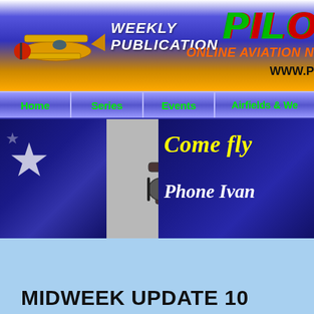[Figure (screenshot): Website header banner with yellow biplane, 'WEEKLY PUBLICATION' text, partial 'PILO' logo in red/green, 'ONLINE AVIATION' text in orange, 'WWW.P' URL text]
[Figure (screenshot): Navigation bar with menu items: Home, Series, Events, Airfields & We (truncated) in green text on blue/purple gradient background]
[Figure (screenshot): Wide banner showing Australian flag with star on left, vintage biplane (Stearman-style biplane) in center on grey background, dark blue flag section on right with 'Come fly' in yellow italic text and 'Phone Ivan' in white italic text]
MIDWEEK UPDATE 10